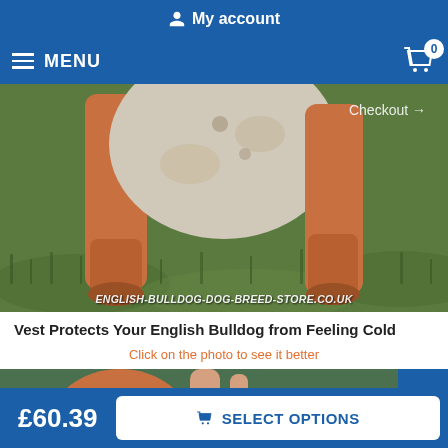My account
MENU  0
[Figure (photo): Close-up photo of English Bulldog legs and belly standing on grass, with watermark ENGLISH-BULLDOG-DOG-BREED-STORE.CO.UK at the bottom and a Checkout → overlay at the top right]
Vest Protects Your English Bulldog from Feeling Cold
Click on the photo to see it better
[Figure (photo): Partial view of an English Bulldog lying on grass, bottom portion of a product listing image]
£60.39
SELECT OPTIONS